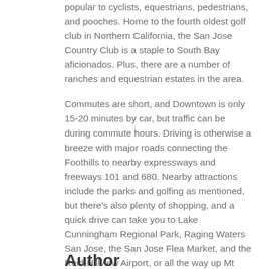popular to cyclists, equestrians, pedestrians, and pooches. Home to the fourth oldest golf club in Northern California, the San Jose Country Club is a staple to South Bay aficionados. Plus, there are a number of ranches and equestrian estates in the area.
Commutes are short, and Downtown is only 15-20 minutes by car, but traffic can be during commute hours. Driving is otherwise a breeze with major roads connecting the Foothills to nearby expressways and freeways 101 and 680. Nearby attractions include the parks and golfing as mentioned, but there's also plenty of shopping, and a quick drive can take you to Lake Cunningham Regional Park, Raging Waters San Jose, the San Jose Flea Market, and the Reid-Hillview Airport, or all the way up Mt Hamilton to the Lick Observatory for a day of science or a night of stargazing.
Author